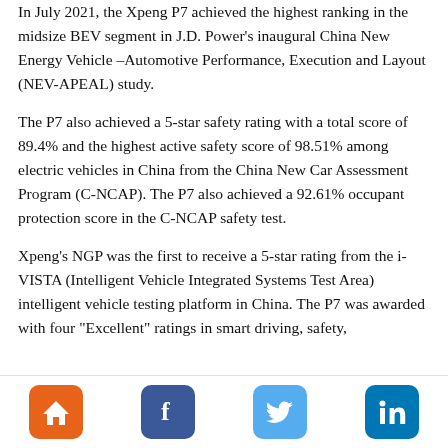In July 2021, the Xpeng P7 achieved the highest ranking in the midsize BEV segment in J.D. Power's inaugural China New Energy Vehicle –Automotive Performance, Execution and Layout (NEV-APEAL) study.
The P7 also achieved a 5-star safety rating with a total score of 89.4% and the highest active safety score of 98.51% among electric vehicles in China from the China New Car Assessment Program (C-NCAP). The P7 also achieved a 92.61% occupant protection score in the C-NCAP safety test.
Xpeng's NGP was the first to receive a 5-star rating from the i-VISTA (Intelligent Vehicle Integrated Systems Test Area) intelligent vehicle testing platform in China. The P7 was awarded with four "Excellent" ratings in smart driving, safety,
[Figure (other): Social media icon buttons: home (orange), Facebook (dark blue), Twitter (light blue), LinkedIn (blue)]